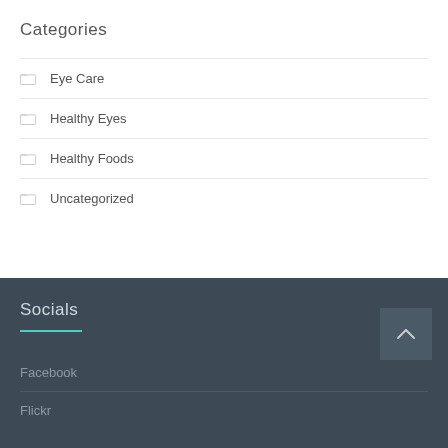Categories
Eye Care
Healthy Eyes
Healthy Foods
Uncategorized
Socials
Facebook
Flickr